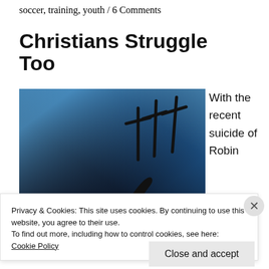soccer, training, youth / 6 Comments
Christians Struggle Too
[Figure (photo): Dark silhouette of a person lying down against a blue-lit background with three cross silhouettes visible in the upper right]
With the recent suicide of Robin
Privacy & Cookies: This site uses cookies. By continuing to use this website, you agree to their use.
To find out more, including how to control cookies, see here:
Cookie Policy
Close and accept